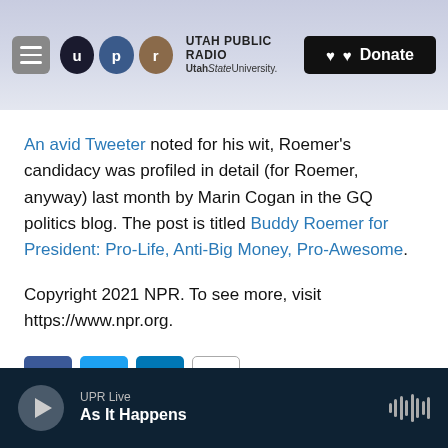UTAH PUBLIC RADIO UtahStateUniversity. Donate
An avid Tweeter noted for his wit, Roemer's candidacy was profiled in detail (for Roemer, anyway) last month by Marin Cogan in the GQ politics blog. The post is titled Buddy Roemer for President: Pro-Life, Anti-Big Money, Pro-Awesome.
Copyright 2021 NPR. To see more, visit https://www.npr.org.
[Figure (infographic): Social sharing icons: Facebook, Twitter, LinkedIn, Email]
UPR Live As It Happens